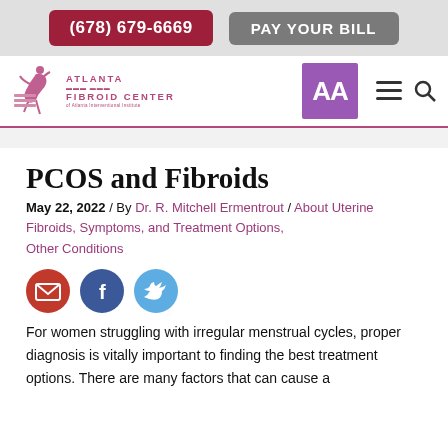(678) 679-6669  PAY YOUR BILL
[Figure (logo): Atlanta Fibroid Center logo with dancer silhouette and pink horizontal bars, AA accessibility badge in purple, hamburger menu and search icons]
PCOS and Fibroids
May 22, 2022 / By Dr. R. Mitchell Ermentrout / About Uterine Fibroids, Symptoms, and Treatment Options, Other Conditions
[Figure (infographic): Three social share buttons: red email circle, dark blue Facebook circle with f icon, light blue Twitter circle with bird icon]
For women struggling with irregular menstrual cycles, proper diagnosis is vitally important to finding the best treatment options. There are many factors that can cause a